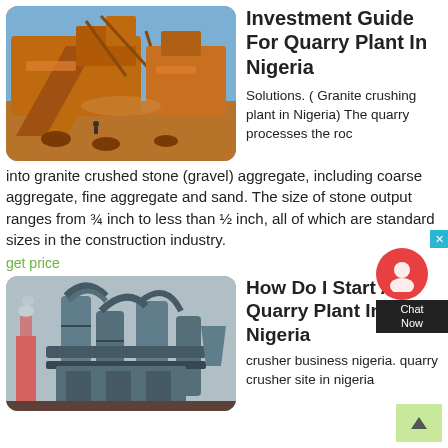[Figure (photo): Orange industrial quarry crushing plant machinery with conveyor belts against blue sky]
Investment Guide For Quarry Plant In Nigeria
Solutions. ( Granite crushing plant in Nigeria) The quarry processes the rock into granite crushed stone (gravel) aggregate, including coarse aggregate, fine aggregate and sand. The size of stone output ranges from ¾ inch to less than ½ inch, all of which are standard sizes in the construction industry.
get price
[Figure (photo): Dark grey industrial quarry plant with large cylindrical processing equipment and chimneys]
How Do I Start A Quarry Plant In Nigeria
crusher business nigeria. quarry crusher site in nigeria